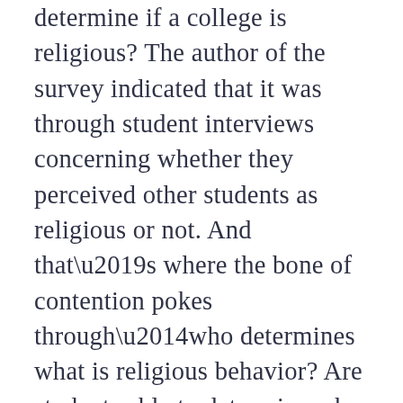determine if a college is religious? The author of the survey indicated that it was through student interviews concerning whether they perceived other students as religious or not. And that’s where the bone of contention pokes through—who determines what is religious behavior? Are students able to determine who is religious or who acts religious? Does religious mean Christian in this context, or religious in any